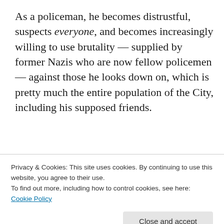As a policeman, he becomes distrustful, suspects everyone, and becomes increasingly willing to use brutality — supplied by former Nazis who are now fellow policemen — against those he looks down on, which is pretty much the entire population of the City, including his supposed friends.
Advertisements
[Figure (logo): Automattic logo and tagline: Build a better web and a better world.]
REPORT THIS AD
As a journalist, he adopts an adversarial attitude toward
Privacy & Cookies: This site uses cookies. By continuing to use this website, you agree to their use. To find out more, including how to control cookies, see here: Cookie Policy
Close and accept
Follow